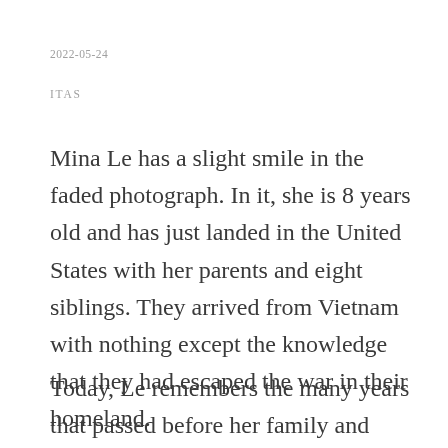2022-05-24
ITAS
Mina Le has a slight smile in the faded photograph. In it, she is 8 years old and has just landed in the United States with her parents and eight siblings. They arrived from Vietnam with nothing except the knowledge that they had escaped the war in their homeland.
Today, Le remembers the many years that passed before her family and other